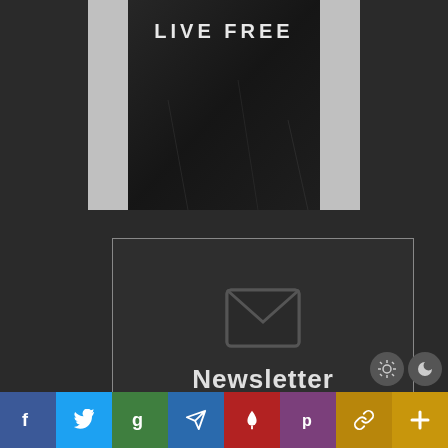[Figure (photo): Black t-shirt with 'LIVE FREE' text printed on it, displayed against a light gray background]
[Figure (infographic): Newsletter signup widget with envelope icon and 'Newsletter' text, inside a dark bordered box]
Newsletter
[Figure (infographic): Social media share bar with icons for Facebook, Twitter, Google+, Telegram, MeWe, Parler, Chain/link, and a plus button]